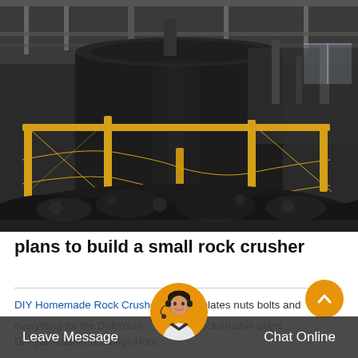[Figure (photo): Industrial rock crusher machine in a factory setting with yellow safety railings and piles of crushed dark rock/coal material. Large cylindrical machinery visible in the background.]
plans to build a small rock crusher
DIY Homemade Rock Crusher crusher plates nuts bolts and everything for the DoItYours... than DIY rock crusher plans DIY jaw crusher drawings Hom...